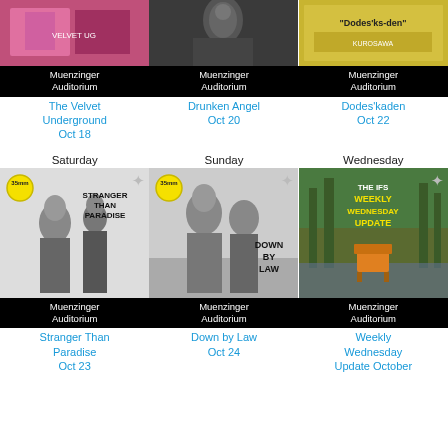[Figure (photo): The Velvet Underground movie poster - pink/magenta tones]
Muenzinger Auditorium
The Velvet Underground
Oct 18
[Figure (photo): Drunken Angel movie poster - dark/monochrome figure]
Muenzinger Auditorium
Drunken Angel
Oct 20
[Figure (photo): Dodes'kaden movie poster - colorful Japanese film]
Muenzinger Auditorium
Dodes'kaden
Oct 22
Saturday
[Figure (photo): Stranger Than Paradise - 35mm black and white film poster with two figures]
Muenzinger Auditorium
Stranger Than Paradise
Oct 23
Sunday
[Figure (photo): Down by Law - 35mm black and white film poster]
Muenzinger Auditorium
Down by Law
Oct 24
Wednesday
[Figure (photo): The IFS Weekly Wednesday Update - green forest with orange armchair]
Muenzinger Auditorium
Weekly Wednesday Update October